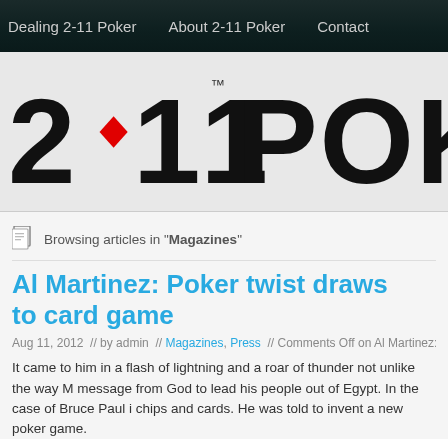Dealing 2-11 Poker   About 2-11 Poker   Contact
[Figure (logo): 2-11 POKER logo with large bold text, red diamond between 2 and 11, partially cropped showing '2·11 POK']
Browsing articles in "Magazines"
Al Martinez: Poker twist draws to card game
Aug 11, 2012  //  by admin  //  Magazines, Press  //  Comments Off on Al Martinez: Poker t
It came to him in a flash of lightning and a roar of thunder not unlike the way M message from God to lead his people out of Egypt. In the case of Bruce Paul i chips and cards. He was told to invent a new poker game.